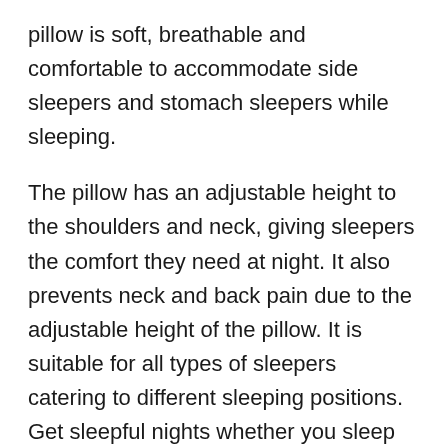pillow is soft, breathable and comfortable to accommodate side sleepers and stomach sleepers while sleeping.
The pillow has an adjustable height to the shoulders and neck, giving sleepers the comfort they need at night. It also prevents neck and back pain due to the adjustable height of the pillow. It is suitable for all types of sleepers catering to different sleeping positions. Get sleepful nights whether you sleep on your stomach, back or side.
Tempur Pedic Breeze pillow is popular among sleepers for its cooling effects and supportive build. The pillow uses adaptive Tempur material that